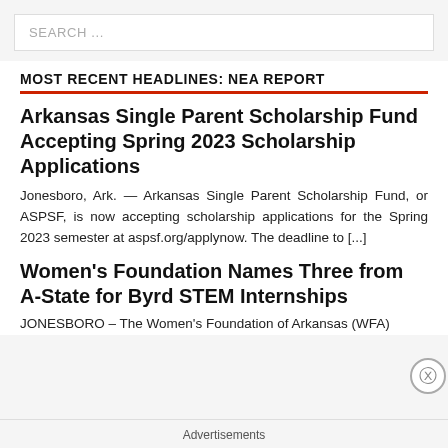SEARCH ...
MOST RECENT HEADLINES: NEA REPORT
Arkansas Single Parent Scholarship Fund Accepting Spring 2023 Scholarship Applications
Jonesboro, Ark. — Arkansas Single Parent Scholarship Fund, or ASPSF, is now accepting scholarship applications for the Spring 2023 semester at aspsf.org/applynow. The deadline to [...]
Women's Foundation Names Three from A-State for Byrd STEM Internships
JONESBORO – The Women's Foundation of Arkansas (WFA)
Advertisements